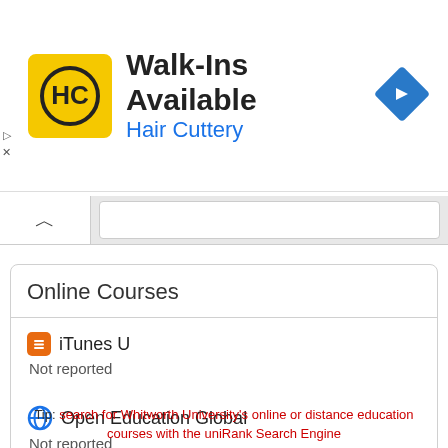[Figure (screenshot): Advertisement banner for Hair Cuttery with yellow HC logo, text 'Walk-Ins Available' and 'Hair Cuttery' in blue, and a blue navigation diamond icon on the right.]
Online Courses
iTunes U
Not reported
Open Education Global
Not reported
Tip: search for Whitworth University's online or distance education courses with the uniRank Search Engine